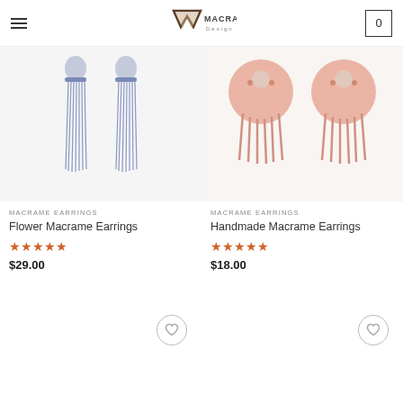Macrame Design - navigation header with hamburger menu and cart
[Figure (photo): Blue tassel/fringe macrame earrings on white background]
MACRAME EARRINGS
Flower Macrame Earrings
★★★★★ $29.00
[Figure (photo): Pink fan-shaped macrame earrings on white background]
MACRAME EARRINGS
Handmade Macrame Earrings
★★★★★ $18.00